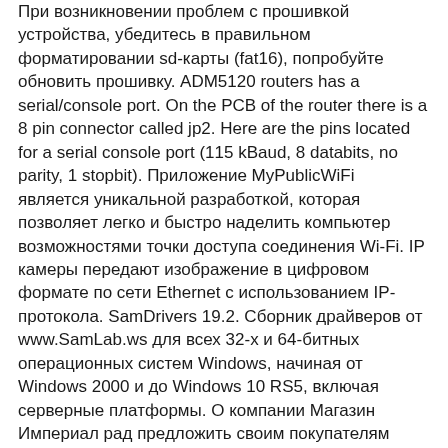При возникновении проблем с прошивкой устройства, убедитесь в правильном форматировании sd-карты (fat16), попробуйте обновить прошивку. ADM5120 routers has a serial/console port. On the PCB of the router there is a 8 pin connector called jp2. Here are the pins located for a serial console port (115 kBaud, 8 databits, no parity, 1 stopbit). Приложение MyPublicWiFi является уникальной разработкой, которая позволяет легко и быстро наделить компьютер возможностями точки доступа соединения Wi-Fi. IP камеры передают изображение в цифровом формате по сети Ethernet с использованием IP-протокола. SamDrivers 19.2. Сборник драйверов от www.SamLab.ws для всех 32-х и 64-битных операционных систем Windows, начиная от Windows 2000 и до Windows 10 RS5, включая серверные платформы. О компании Магазин Империал рад предложить своим покупателям широкий ассортимент компьютерной периферии, оргтехники, сетевого оборудования      wifi     (wifi sd        FlashAir SDHC 32GB WiFi )                                                .
WiFi■■SD■■■■■■■■      moyashi (@hitoriblog)    ■■LAN■■